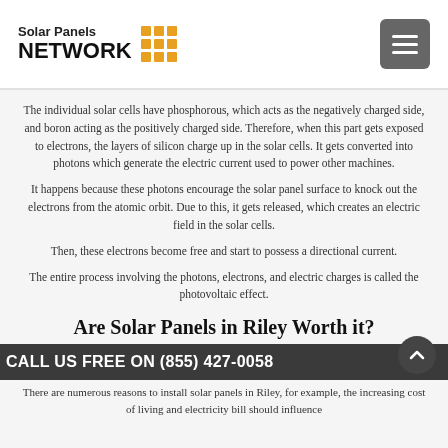Solar Panels NETWORK
The individual solar cells have phosphorous, which acts as the negatively charged side, and boron acting as the positively charged side. Therefore, when this part gets exposed to electrons, the layers of silicon charge up in the solar cells. It gets converted into photons which generate the electric current used to power other machines.
It happens because these photons encourage the solar panel surface to knock out the electrons from the atomic orbit. Due to this, it gets released, which creates an electric field in the solar cells.
Then, these electrons become free and start to possess a directional current.
The entire process involving the photons, electrons, and electric charges is called the photovoltaic effect.
Are Solar Panels in Riley Worth it?
CALL US FREE ON (855) 427-0058
There are numerous reasons to install solar panels in Riley, for example, the increasing cost of living and electricity bill should influence